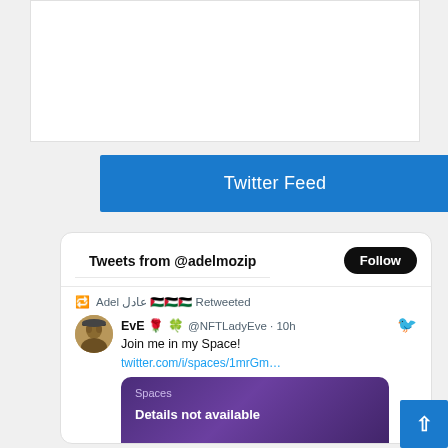Twitter Feed
Tweets from @adelmozip
Adel عادل 🇵🇸🇵🇸🇵🇸 Retweeted
EvE 🌹 🍀 @NFTLadyEve · 10h
Join me in my Space!
twitter.com/i/spaces/1mrGm…
Spaces
Details not available